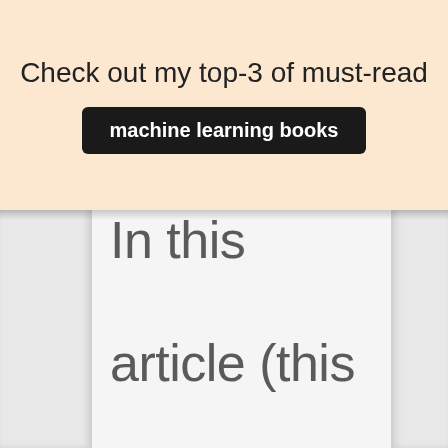Check out my top-3 of must-read
machine learning books
In this article (this will be part of a next article): The curse of